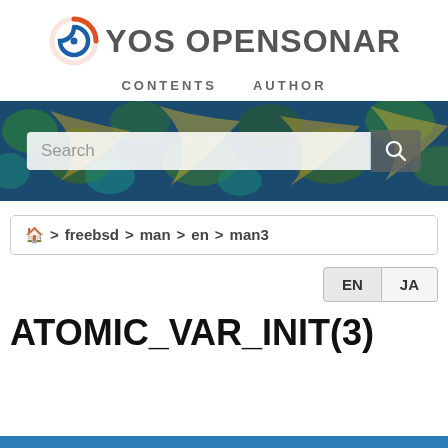[Figure (logo): YOS OpenSonar logo with a spiral icon in blue and orange, followed by bold text 'YOS OPENSONAR']
CONTENTS   AUTHOR
[Figure (screenshot): Decorative banner with ornate blue and gold floral pattern background, containing a search bar with placeholder text 'Search' and a search button with magnifying glass icon]
🏠 > freebsd > man > en > man3
EN   JA
ATOMIC_VAR_INIT(3)